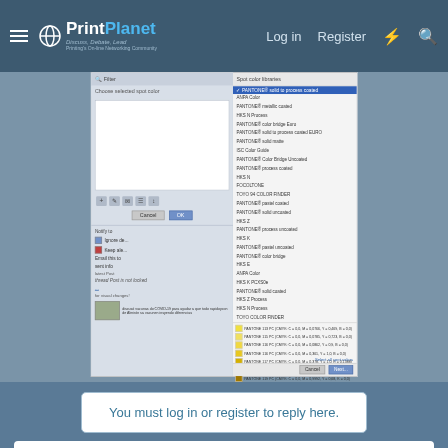PrintPlanet — Log in | Register
[Figure (screenshot): Screenshot of a print color management dialog showing spot color libraries list and PANTONE color selections with CMYK values]
You must log in or register to reply here.
Similar threads